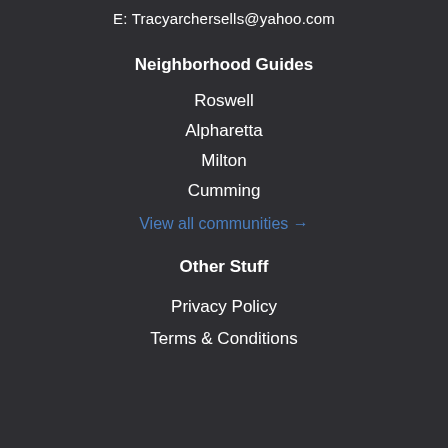E: Tracyarchersells@yahoo.com
Neighborhood Guides
Roswell
Alpharetta
Milton
Cumming
View all communities →
Other Stuff
Privacy Policy
Terms & Conditions